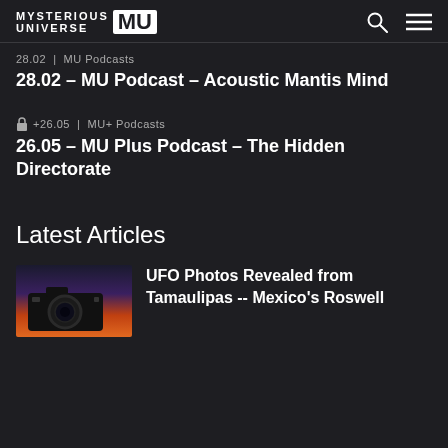MYSTERIOUS UNIVERSE MU
28.02 | MU Podcasts
28.02 – MU Podcast – Acoustic Mantis Mind
🔒 +26.05 | MU+ Podcasts
26.05 – MU Plus Podcast – The Hidden Directorate
Latest Articles
UFO Photos Revealed from Tamaulipas -- Mexico's Roswell
[Figure (photo): Camera photographing a colorful sunset sky]